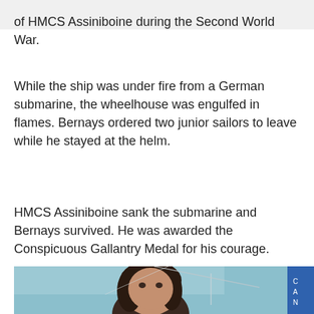of HMCS Assiniboine during the Second World War.
While the ship was under fire from a German submarine, the wheelhouse was engulfed in flames. Bernays ordered two junior sailors to leave while he stayed at the helm.
HMCS Assiniboine sank the submarine and Bernays survived. He was awarded the Conspicuous Gallantry Medal for his courage.
[Figure (photo): Close-up photograph of a person with dark curly hair outdoors near what appears to be a boat or sailing vessel, with a blue banner visible on the right side.]